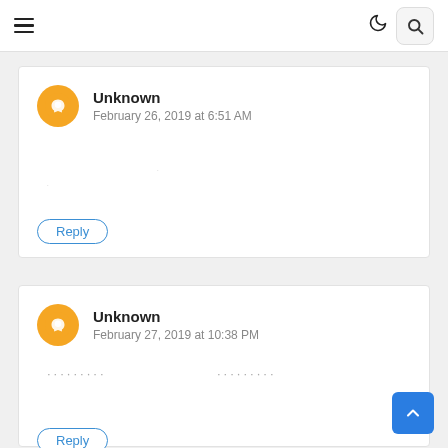Navigation bar with hamburger menu, moon icon, and search icon
Unknown
February 26, 2019 at 6:51 AM
Reply
Unknown
February 27, 2019 at 10:38 PM
Reply